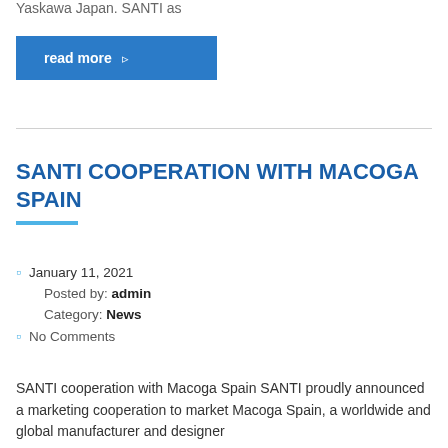Yaskawa Japan. SANTI as
read more
SANTI COOPERATION WITH MACOGA SPAIN
January 11, 2021
Posted by: admin
Category: News
No Comments
SANTI cooperation with Macoga Spain SANTI proudly announced a marketing cooperation to market Macoga Spain, a worldwide and global manufacturer and designer